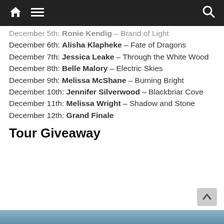🏠 ☰  🔍
December 5th: Ronie Kendig – Brand of Light
December 6th: Alisha Klapheke – Fate of Dragons
December 7th: Jessica Leake – Through the White Wood
December 8th: Belle Malory – Electric Skies
December 9th: Melissa McShane – Burning Bright
December 10th: Jennifer Silverwood – Blackbriar Cove
December 11th: Melissa Wright – Shadow and Stone
December 12th: Grand Finale
Tour Giveaway